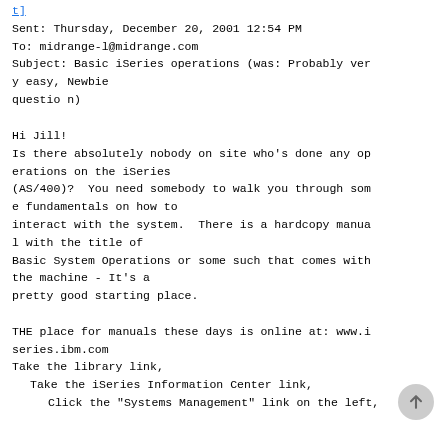t]
Sent: Thursday, December 20, 2001 12:54 PM
To: midrange-l@midrange.com
Subject: Basic iSeries operations (was: Probably very easy, Newbie question)
Hi Jill!
Is there absolutely nobody on site who's done any operations on the iSeries (AS/400)?  You need somebody to walk you through some fundamentals on how to interact with the system.  There is a hardcopy manual with the title of Basic System Operations or some such that comes with the machine - It's a pretty good starting place.

THE place for manuals these days is online at: www.iseries.ibm.com
Take the library link,
  Take the iSeries Information Center link,
    Click the "Systems Management" link on the left,